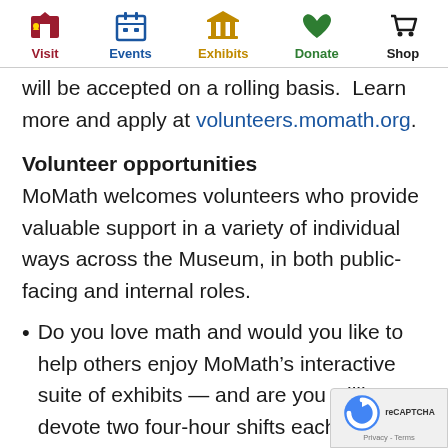Visit | Events | Exhibits | Donate | Shop
will be accepted on a rolling basis.  Learn more and apply at volunteers.momath.org.
Volunteer opportunities
MoMath welcomes volunteers who provide valuable support in a variety of individual ways across the Museum, in both public-facing and internal roles.
Do you love math and would you like to help others enjoy MoMath's interactive suite of exhibits — and are you willing to devote two four-hour shifts each month?  Apply to become a volunte...